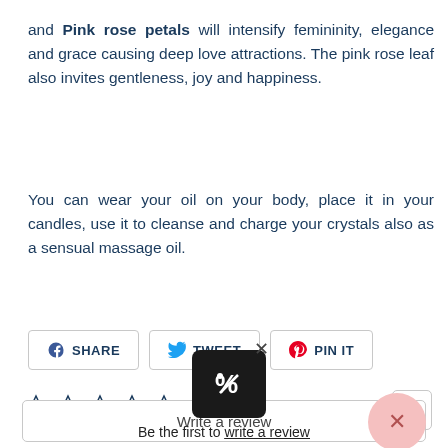and Pink rose petals will intensify femininity, elegance and grace causing deep love attractions. The pink rose leaf also invites gentleness, joy and happiness.
You can wear your oil on your body, place it in your candles, use it to cleanse and charge your crystals also as a sensual massage oil.
SHARE   TWEET   PIN IT
[Figure (other): Five empty star rating icons in a row]
Write a review
Be the first to write a review